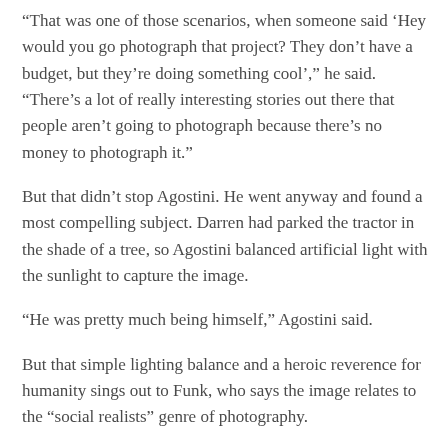“That was one of those scenarios, when someone said ‘Hey would you go photograph that project? They don’t have a budget, but they’re doing something cool’,” he said. “There’s a lot of really interesting stories out there that people aren’t going to photograph because there’s no money to photograph it.”
But that didn’t stop Agostini. He went anyway and found a most compelling subject. Darren had parked the tractor in the shade of a tree, so Agostini balanced artificial light with the sunlight to capture the image.
“He was pretty much being himself,” Agostini said.
But that simple lighting balance and a heroic reverence for humanity sings out to Funk, who says the image relates to the “social realists” genre of photography.